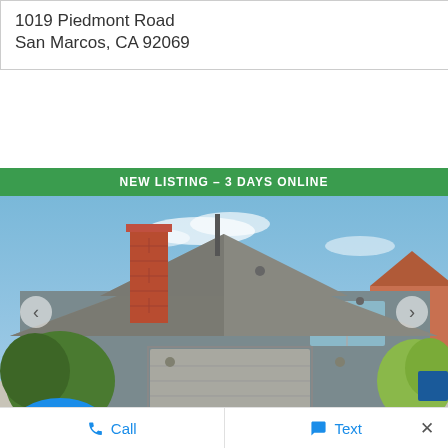1019 Piedmont Road
San Marcos, CA 92069
[Figure (photo): Exterior photo of a two-story residential home with gray siding, brick chimney, gray shingle roof, two-car garage, and landscaping. A green banner reads 'NEW LISTING – 3 DAYS ONLINE'.]
Call   Text   ×